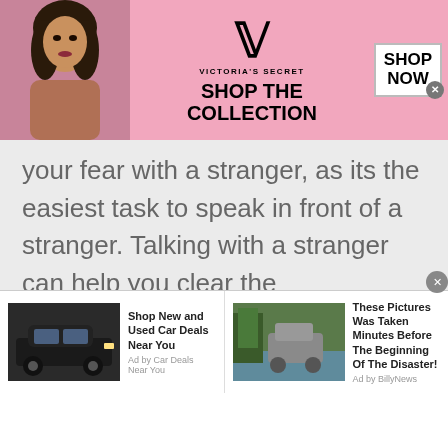[Figure (other): Victoria's Secret advertisement banner with model, VS logo, 'SHOP THE COLLECTION' text, and 'SHOP NOW' button]
your fear with a stranger, as its the easiest task to speak in front of a stranger. Talking with a stranger can help you clear the complications of life, as the question that you never had answer for could have been answered by someone else already.
[Figure (other): Advertisement: Shop New and Used Car Deals Near You. Ad by Car Deals Near You. Image of black SUV.]
[Figure (other): Advertisement: These Pictures Was Taken Minutes Before The Beginning Of The Disaster! Ad by BillyNews. Image of vehicle in floodwater.]